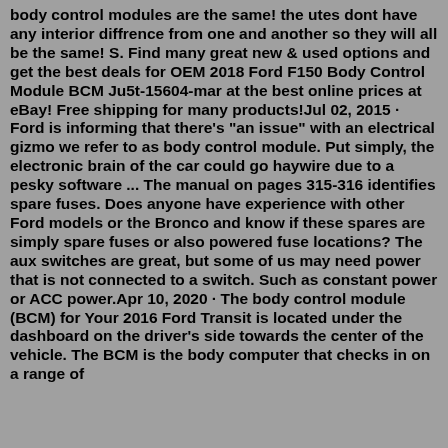body control modules are the same! the utes dont have any interior diffrence from one and another so they will all be the same! S. Find many great new & used options and get the best deals for OEM 2018 Ford F150 Body Control Module BCM Ju5t-15604-mar at the best online prices at eBay! Free shipping for many products!Jul 02, 2015 · Ford is informing that there’s “an issue” with an electrical gizmo we refer to as body control module. Put simply, the electronic brain of the car could go haywire due to a pesky software ... The manual on pages 315-316 identifies spare fuses. Does anyone have experience with other Ford models or the Bronco and know if these spares are simply spare fuses or also powered fuse locations? The aux switches are great, but some of us may need power that is not connected to a switch. Such as constant power or ACC power.Apr 10, 2020 · The body control module (BCM) for Your 2016 Ford Transit is located under the dashboard on the driver's side towards the center of the vehicle. The BCM is the body computer that checks in on a range of